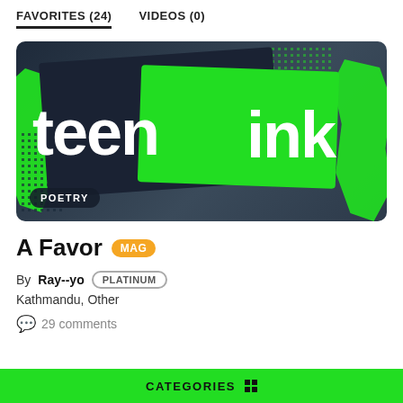FAVORITES (24)   VIDEOS (0)
[Figure (logo): Teen Ink logo banner with 'teen' in white bold text on dark background and 'ink' in white bold text on green background, with green paint splash accents and a POETRY tag overlay]
A Favor MAG
By Ray--yo PLATINUM
Kathmandu, Other
29 comments
CATEGORIES